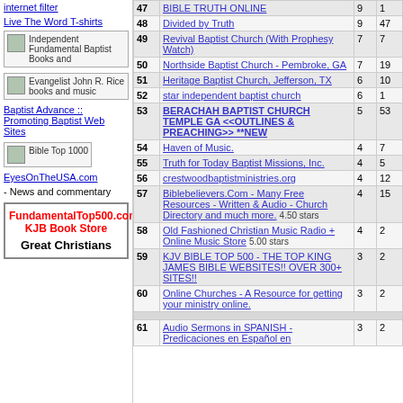internet filter
Live The Word T-shirts
[Figure (other): Independent Fundamental Baptist Books and thumbnail image box]
[Figure (other): Evangelist John R. Rice books and music thumbnail image box]
Baptist Advance :: Promoting Baptist Web Sites
[Figure (other): Bible Top 1000 thumbnail image box]
EyesOnTheUSA.com - News and commentary
FundamentalTop500.com KJB Book Store Great Christians
| # | Site | In | Out |
| --- | --- | --- | --- |
| 47 | BIBLE TRUTH ONLINE | 9 | 1 |
| 48 | Divided by Truth | 9 | 47 |
| 49 | Revival Baptist Church (With Prophesy Watch) | 7 | 7 |
| 50 | Northside Baptist Church - Pembroke, GA | 7 | 19 |
| 51 | Heritage Baptist Church, Jefferson, TX | 6 | 10 |
| 52 | star independent baptist church | 6 | 1 |
| 53 | BERACHAH BAPTIST CHURCH TEMPLE GA <<OUTLINES & PREACHING>> **NEW | 5 | 53 |
| 54 | Haven of Music. | 4 | 7 |
| 55 | Truth for Today Baptist Missions, Inc. | 4 | 5 |
| 56 | crestwoodbaptistministries.org | 4 | 12 |
| 57 | Biblebelievers.Com - Many Free Resources - Written & Audio - Church Directory and much more. 4.50 stars | 4 | 15 |
| 58 | Old Fashioned Christian Music Radio + Online Music Store 5.00 stars | 4 | 2 |
| 59 | KJV BIBLE TOP 500 - THE TOP KING JAMES BIBLE WEBSITES!! OVER 300+ SITES!! | 3 | 2 |
| 60 | Online Churches - A Resource for getting your ministry online. | 3 | 2 |
| 61 | Audio Sermons in SPANISH - Predicaciones en Español en | 3 | 2 |